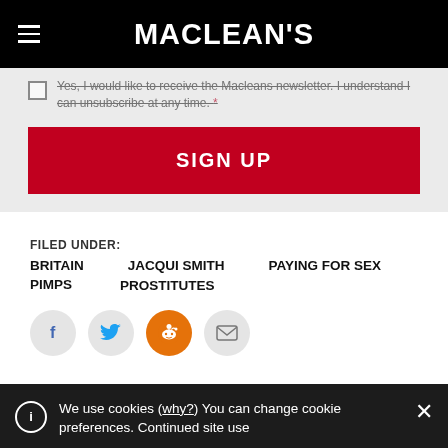MACLEAN'S
Yes, I would like to receive the Macleans newsletter. I understand I can unsubscribe at any time. *
SIGN UP
FILED UNDER:
BRITAIN
JACQUI SMITH
PAYING FOR SEX
PIMPS
PROSTITUTES
[Figure (other): Social share icons: Facebook, Twitter, Reddit, Email]
We use cookies (why?) You can change cookie preferences. Continued site use